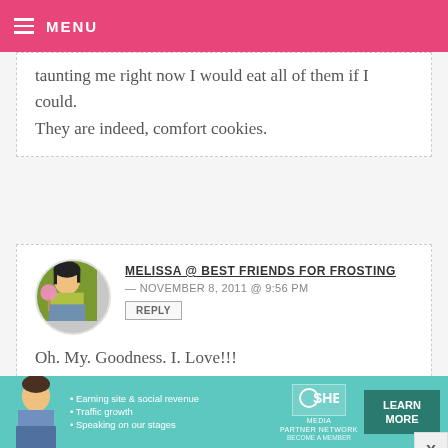MENU
taunting me right now I would eat all of them if I could.

They are indeed, comfort cookies.
MELISSA @ BEST FRIENDS FOR FROSTING — NOVEMBER 8, 2011 @ 9:56 PM
REPLY

Oh. My. Goodness. I. Love!!!
ANONYMOUS — NOVEMBER 8, 2011 @ ...